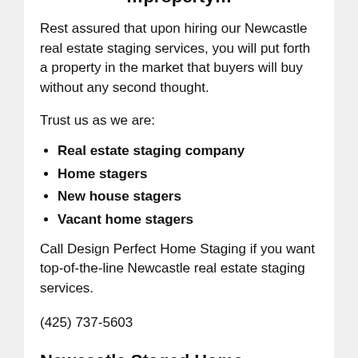Rest assured that upon hiring our Newcastle real estate staging services, you will put forth a property in the market that buyers will buy without any second thought.
Trust us as we are:
Real estate staging company
Home stagers
New house stagers
Vacant home stagers
Call Design Perfect Home Staging if you want top-of-the-line Newcastle real estate staging services.
(425) 737-5603
Newcastle Staged Home